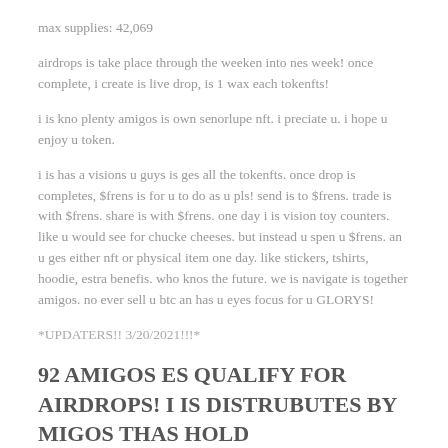max supplies: 42,069
airdrops is take place through the weeken into nes week! once complete, i create is live drop, is 1 wax each tokenfts!
i is kno plenty amigos is own senorlupe nft. i preciate u. i hope u enjoy u token.
i is has a visions u guys is ges all the tokenfts. once drop is completes, $frens is for u to do as u pls! send is to $frens. trade is with $frens. share is with $frens. one day i is vision toy counters. like u would see for chucke cheeses. but instead u spen u $frens. an u ges either nft or physical item one day. like stickers, tshirts, hoodie, estra benefis. who knos the future. we is navigate is together amigos. no ever sell u btc an has u eyes focus for u GLORYS!
*UPDATERS!! 3/20/2021!!!*
92 AMIGOS ES QUALIFY FOR AIRDROPS! I IS DISTRUBUTES BY MIGOS THAS HOLD